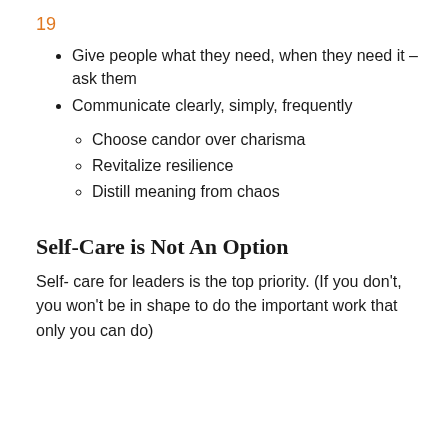19
Give people what they need, when they need it – ask them
Communicate clearly, simply, frequently
Choose candor over charisma
Revitalize resilience
Distill meaning from chaos
Self-Care is Not An Option
Self- care for leaders is the top priority. (If you don't, you won't be in shape to do the important work that only you can do)